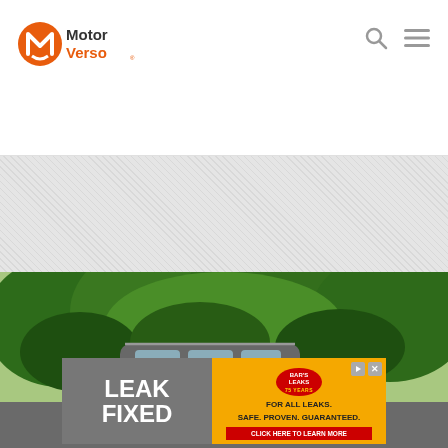Motor Verso
[Figure (photo): Car parked on a road with green trees in background]
[Figure (photo): Advertisement banner: Bar's Leaks - Leak Fixed. For all leaks. Safe. Proven. Guaranteed. Click here to learn more.]